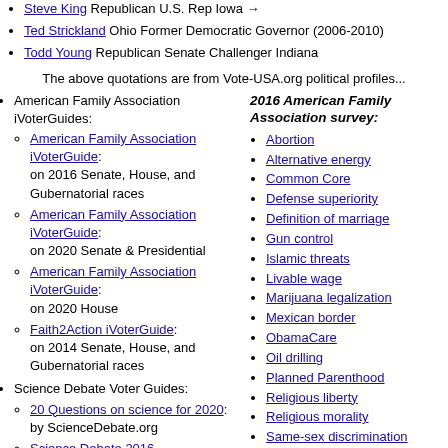Steve King Republican U.S. Rep Iowa (partial, cut off)
Ted Strickland Ohio Former Democratic Governor (2006-2010)
Todd Young Republican Senate Challenger Indiana
The above quotations are from Vote-USA.org political profiles...
American Family Association iVoterGuides:
American Family Association iVoterGuide: on 2016 Senate, House, and Gubernatorial races
American Family Association iVoterGuide: on 2020 Senate & Presidential
American Family Association iVoterGuide: on 2020 House
Faith2Action iVoterGuide: on 2014 Senate, House, and Gubernatorial races
Science Debate Voter Guides:
20 Questions on science for 2020: by ScienceDebate.org
Science Debate 2016
Science Debate 2012
CampusElect.org Voter Guides:
2020 CampusElect.org Voter Guides: on Campus Election
2016 American Family Association survey:
Abortion
Alternative energy
Common Core
Defense superiority
Definition of marriage
Gun control
Islamic threats
Livable wage
Marijuana legalization
Mexican border
ObamaCare
Oil drilling
Planned Parenthood
Religious liberty
Religious morality
Same-sex discrimination
Syrian refugees
Voter ID
War on Terror
2014 Faith2Action survey:
Abortion
Budget